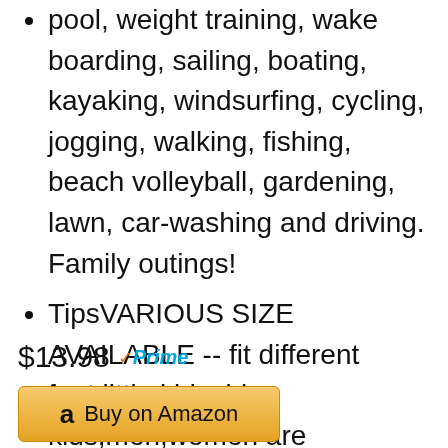pool, weight training, wake boarding, sailing, boating, kayaking, windsurfing, cycling, jogging, walking, fishing, beach volleyball, gardening, lawn, car-washing and driving. Family outings!
Tips⁠VARIOUS SIZE AVAILABLE -- fit different feet,little kids, big kids,men,women are available.
$13.98 Prime
Buy on Amazon